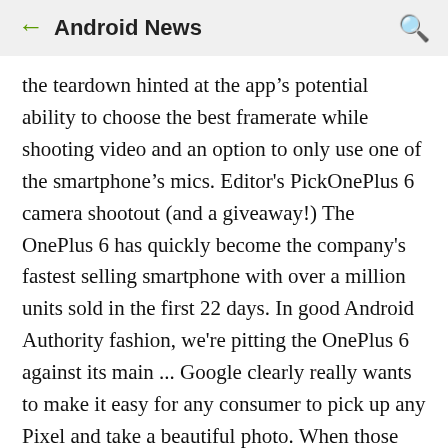Android News
the teardown hinted at the app’s potential ability to choose the best framerate while shooting video and an option to only use one of the smartphone’s mics. Editor's PickOnePlus 6 camera shootout (and a giveaway!) The OnePlus 6 has quickly become the company's fastest selling smartphone with over a million units sold in the first 22 days. In good Android Authority fashion, we're pitting the OnePlus 6 against its main ... Google clearly really wants to make it easy for any consumer to pick up any Pixel and take a beautiful photo. When those same users or professionals